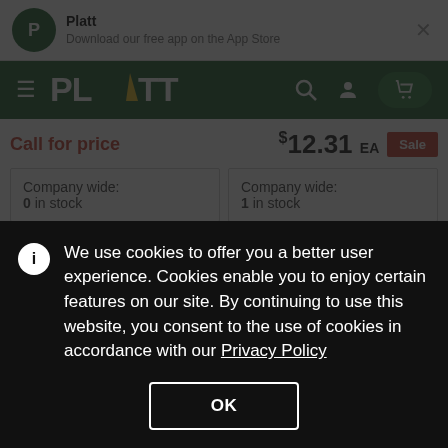Platt — Download our free app on the App Store
[Figure (logo): Platt logo - green circle with P, white PLATT text navigation bar]
Call for price
$12.31 EA Sale
Company wide: 0 in stock
Company wide: 1 in stock
We use cookies to offer you a better user experience. Cookies enable you to enjoy certain features on our site. By continuing to use this website, you consent to the use of cookies in accordance with our Privacy Policy
OK